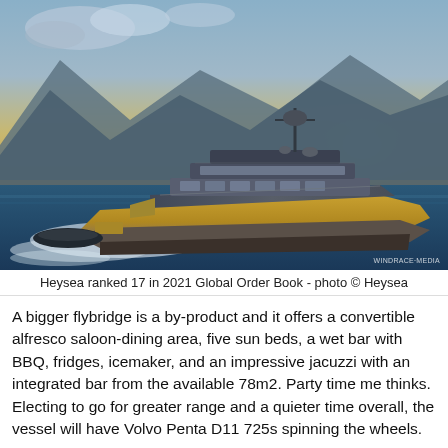[Figure (photo): Luxury superyacht Heysea cruising on water with mountains in background, golden hour lighting, small tender boat in wake]
Heysea ranked 17 in 2021 Global Order Book - photo © Heysea
A bigger flybridge is a by-product and it offers a convertible alfresco saloon-dining area, five sun beds, a wet bar with BBQ, fridges, icemaker, and an impressive jacuzzi with an integrated bar from the available 78m2. Party time me thinks. Electing to go for greater range and a quieter time overall, the vessel will have Volvo Penta D11 725s spinning the wheels.
Cookies help us deliver our services. By using our services, you agree to our use of cookies. learn more   got it